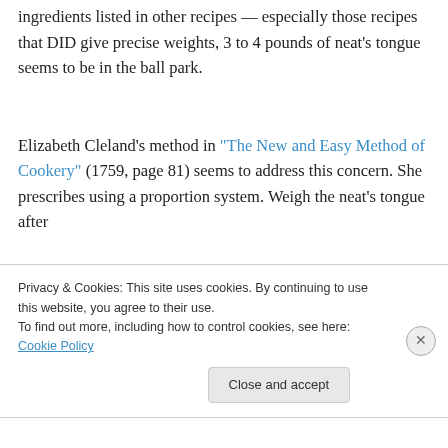ingredients listed in other recipes — especially those recipes that DID give precise weights, 3 to 4 pounds of neat's tongue seems to be in the ball park.
Elizabeth Cleland's method in "The New and Easy Method of Cookery" (1759, page 81) seems to address this concern. She prescribes using a proportion system. Weigh the neat's tongue after
Privacy & Cookies: This site uses cookies. By continuing to use this website, you agree to their use.
To find out more, including how to control cookies, see here: Cookie Policy